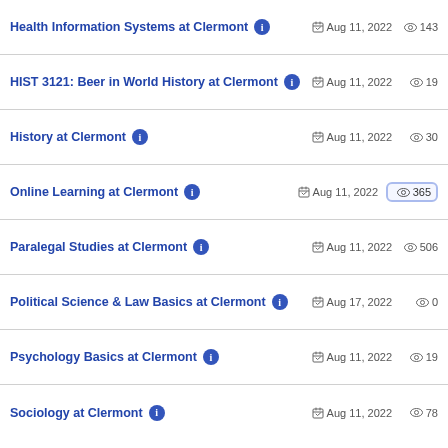Health Information Systems at Clermont | Aug 11, 2022 | 143
HIST 3121: Beer in World History at Clermont | Aug 11, 2022 | 19
History at Clermont | Aug 11, 2022 | 30
Online Learning at Clermont | Aug 11, 2022 | 365
Paralegal Studies at Clermont | Aug 11, 2022 | 506
Political Science & Law Basics at Clermont | Aug 17, 2022 | 0
Psychology Basics at Clermont | Aug 11, 2022 | 19
Sociology at Clermont | Aug 11, 2022 | 78